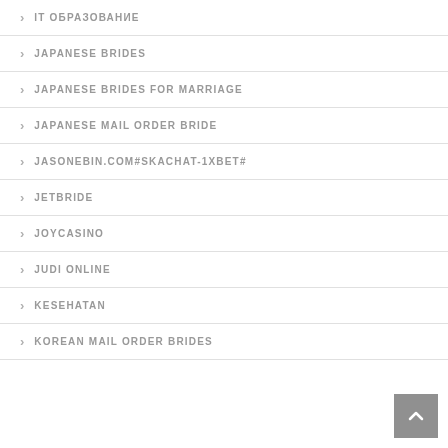IT ОБРАЗОВАНИЕ
JAPANESE BRIDES
JAPANESE BRIDES FOR MARRIAGE
JAPANESE MAIL ORDER BRIDE
JASONEBIN.COM#SKACHAT-1XBET#
JETBRIDE
JOYCASINO
JUDI ONLINE
KESEHATAN
KOREAN MAIL ORDER BRIDES